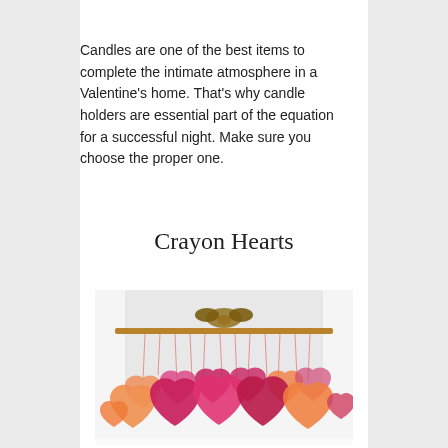Candles are one of the best items to complete the intimate atmosphere in a Valentine's home. That's why candle holders are essential part of the equation for a successful night. Make sure you choose the proper one.
Crayon Hearts
[Figure (photo): Photo of colorful crayon-wax heart shapes in pink, red, magenta, and orange hanging on strings from a wooden rod against a light background, creating a decorative Valentine's Day mobile.]